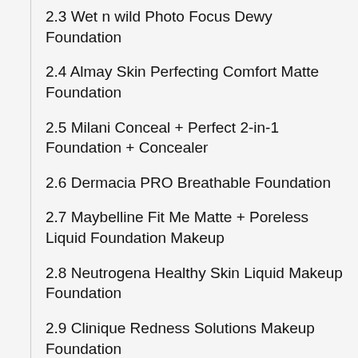2.3 Wet n wild Photo Focus Dewy Foundation
2.4 Almay Skin Perfecting Comfort Matte Foundation
2.5 Milani Conceal + Perfect 2-in-1 Foundation + Concealer
2.6 Dermacia PRO Breathable Foundation
2.7 Maybelline Fit Me Matte + Poreless Liquid Foundation Makeup
2.8 Neutrogena Healthy Skin Liquid Makeup Foundation
2.9 Clinique Redness Solutions Makeup Foundation
2.10 e.l.f, Flawless Finish Foundation